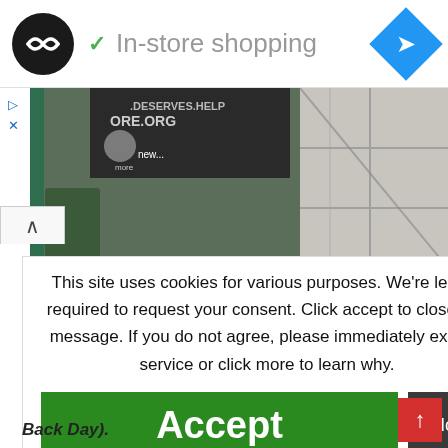In-store shopping
[Figure (screenshot): Screenshot of a browser/app page showing a store listing with 'In-store shopping' feature indicated by a checkmark. Header contains a circular logo, checkmark icon, text, and a blue navigation diamond icon. Small ad controls (play and close) appear on the left.]
[Figure (photo): Photograph of a store interior showing a sign reading '.deserves.help .ORG' and tiled floor/wall in background.]
This site uses cookies for various purposes. We're legally required to request your consent. Click accept to close this message. If you do not agree, please immediately exit the service or click more to learn why.
Accept
More
's Office
ions during
and;
Ormond Beach;
v Smyrna Beach: *
ription Drug
Back Day).